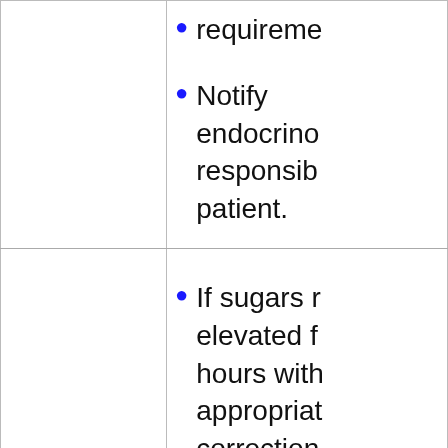requirements.
Notify endocrino responsible patient.
If sugars r elevated f hours with appropriat correction patient ha nausea a vomiting a can't keep